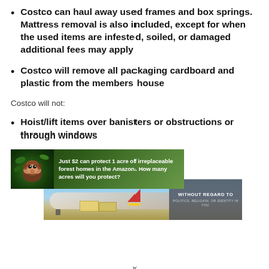Costco can haul away used frames and box springs. Mattress removal is also included, except for when the used items are infested, soiled, or damaged additional fees may apply
Costco will remove all packaging cardboard and plastic from the members house
Costco will not:
Hoist/lift items over banisters or obstructions or through windows
[Figure (photo): Two overlapping advertisement banners: top banner shows a monkey in green forest with text 'Just $2 can protect 1 acre of irreplaceable forest homes in the Amazon. How many acres will you protect?'; bottom banner shows an airplane on tarmac being loaded with cargo, with a dark overlay reading 'WITHOUT REGARD TO POLITICS, RELIGION, OR IDENTITY IN YOU.']
x